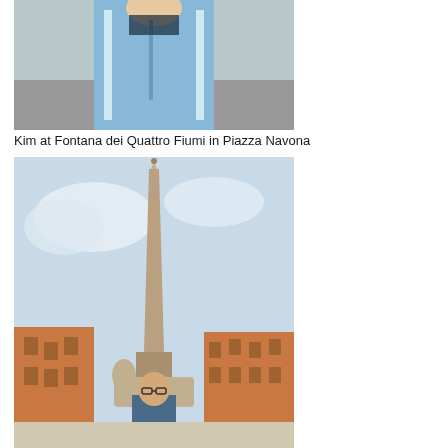[Figure (photo): Woman in light blue jacket standing outdoors, photo taken at Fontana dei Quattro Fiumi in Piazza Navona]
Kim at Fontana dei Quattro Fiumi in Piazza Navona
[Figure (photo): Man standing in Piazza Navona with the obelisk of the Fontana dei Quattro Fiumi and surrounding Roman buildings in the background]